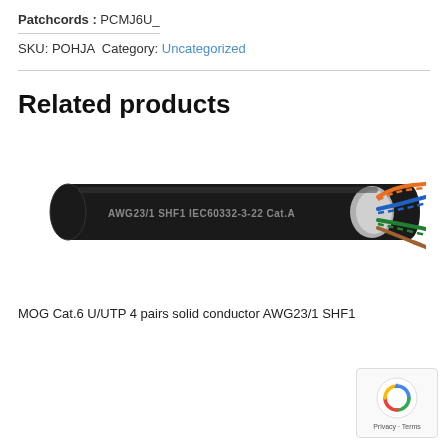Patchcords : PCMJ6U_
SKU: POHJA Category: Uncategorized
Related products
[Figure (photo): A black network cable (U/UTP Cat.6) with exposed internal pairs showing orange, blue, and green twisted pairs, labeled AWG23/1 SHF1 IEC60332-3-22 Cat.A on the jacket.]
MOG Cat.6 U/UTP 4 pairs solid conductor AWG23/1 SHF1